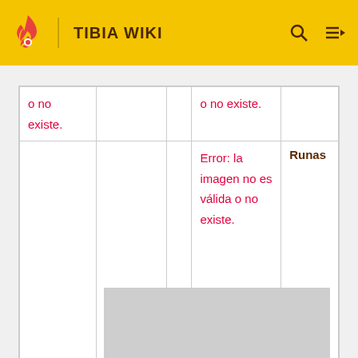TIBIA WIKI
| Error: la imagen no es válida o no existe. |  |  | Error: la imagen no es válida o no existe. |  |
|  |  |  | Error: la imagen no es válida o no existe. | Runas |